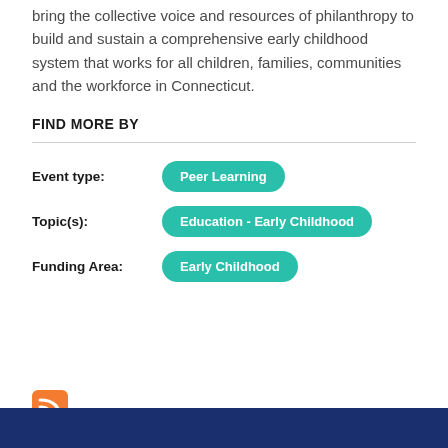bring the collective voice and resources of philanthropy to build and sustain a comprehensive early childhood system that works for all children, families, communities and the workforce in Connecticut.
FIND MORE BY
| Label | Tag |
| --- | --- |
| Event type: | Peer Learning |
| Topic(s): | Education - Early Childhood |
| Funding Area: | Early Childhood |
[Figure (other): Orange RSS feed icon]